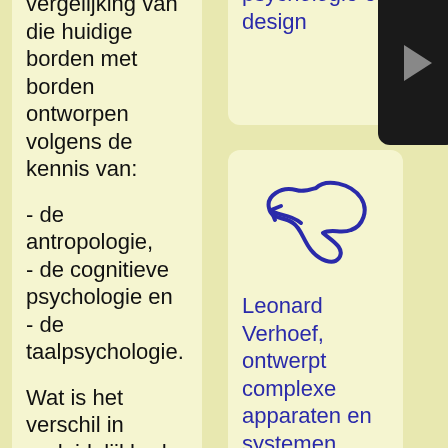vergelijking van die huidige borden met borden ontworpen volgens de kennis van:

- de antropologie,
- de cognitieve psychologie en
- de taalpsychologie.

Wat is het verschil in onduidelijkheden, misverstanden, leertijd en kijktijd en de omvang van (rij)examens.
psychologie en design
[Figure (illustration): Abstract blue bird or arrow icon illustration]
Leonard Verhoef, ontwerpt complexe apparaten en systemen waarmee mensen moeten denken en handelen. Geen designer